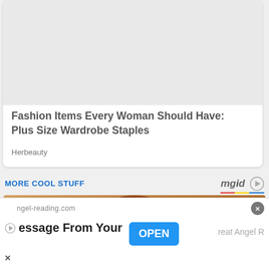[Figure (other): Content card with blank image area at top]
Fashion Items Every Woman Should Have: Plus Size Wardrobe Staples
Herbeauty
MORE COOL STUFF
[Figure (photo): Photo of a person with curly red/auburn hair]
ngel-reading.com
essage From Your
OPEN
reat Angel R